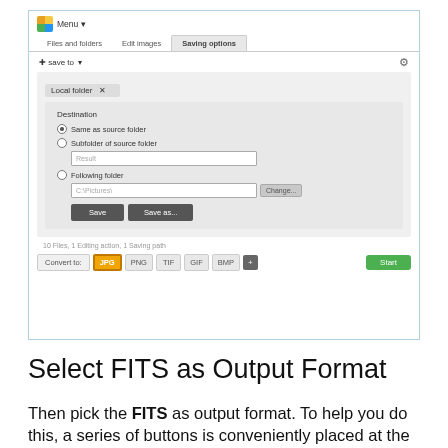[Figure (screenshot): Screenshot of image converter application showing the Saving options tab. The panel shows Local folder destination settings with radio buttons: 'Same as source folder' (selected), 'Subfolder of source folder' with text input showing 'Result', and 'Following folder' with path input 'C:\Pictures\' and a Change button. Save and Save as... buttons are shown. Status bar shows '10 Files, 1 Editing action, 1 Saving path'. Convert to bar shows JPG (selected in orange), PNG, TIF, GIF, BMP buttons, a + button, and a green Start button.]
Select FITS as Output Format
Then pick the FITS as output format. To help you do this, a series of buttons is conveniently placed at the